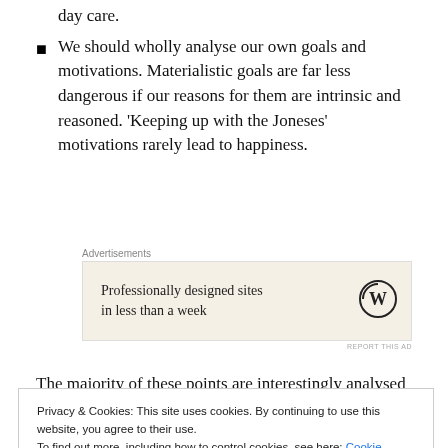…than a family of relatives should be preferable before day care.
We should wholly analyse our own goals and motivations. Materialistic goals are far less dangerous if our reasons for them are intrinsic and reasoned. 'Keeping up with the Joneses' motivations rarely lead to happiness.
[Figure (other): Advertisement banner: 'Professionally designed sites in less than a week' with WordPress logo. Label: Advertisements. REPORT THIS AD.]
The majority of these points are interestingly analysed by
Privacy & Cookies: This site uses cookies. By continuing to use this website, you agree to their use. To find out more, including how to control cookies, see here: Cookie Policy. Close and accept.